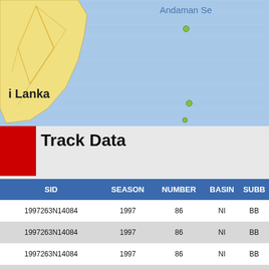[Figure (map): Partial map showing Sri Lanka and the Andaman Sea region with blue ocean background, land mass with road network overlay, and green markers indicating storm track positions.]
Track Data
| SID | SEASON | NUMBER | BASIN | SUBB |
| --- | --- | --- | --- | --- |
| 1997263N14084 | 1997 | 86 | NI | BB |
| 1997263N14084 | 1997 | 86 | NI | BB |
| 1997263N14084 | 1997 | 86 | NI | BB |
| 1997263N14084 | 1997 | 86 | NI | BB |
| 1997263N14084 | 1997 | 86 | NI | BB |
| 1997263N14084 | 1997 | 86 | NI | BB |